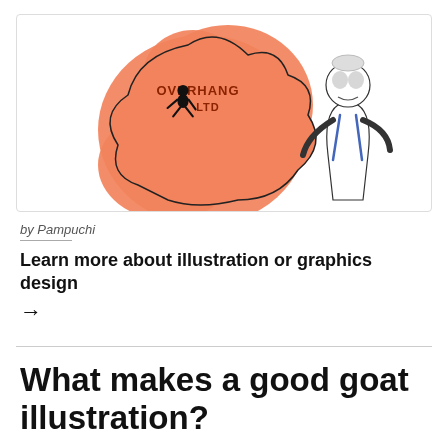[Figure (illustration): Illustration showing an orange blob shape with 'OVERHANG LTD' text and a silhouette of a jumping figure on it, alongside a hand-drawn character in white coat with blue accents and skull-like face paint.]
by Pampuchi
Learn more about illustration or graphics design →
What makes a good goat illustration?